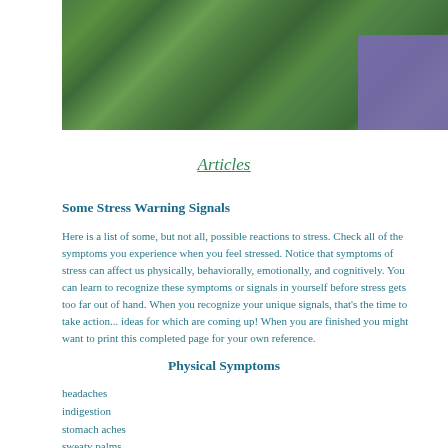[Figure (photo): Green leafy plant background photo with purple rectangle overlay in top-right corner]
Articles
Some Stress Warning Signals
Here is a list of some, but not all, possible reactions to stress. Check all of the symptoms you experience when you feel stressed. Notice that symptoms of stress can affect us physically, behaviorally, emotionally, and cognitively. You can learn to recognize these symptoms or signals in yourself before stress gets too far out of hand. When you recognize your unique signals, that's the time to take action... ideas for which are coming up! When you are finished you might want to print this completed page for your own reference.
Physical Symptoms
headaches
indigestion
stomach aches
sweaty palms
cold hands, feet
dizziness
easily fatigued
muscle tension back pain
tight neck, shoulders
racing heart